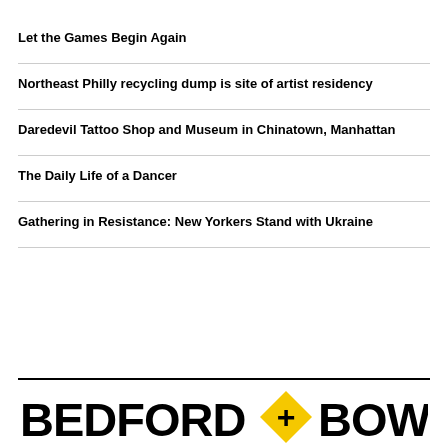Let the Games Begin Again
Northeast Philly recycling dump is site of artist residency
Daredevil Tattoo Shop and Museum in Chinatown, Manhattan
The Daily Life of a Dancer
Gathering in Resistance: New Yorkers Stand with Ukraine
[Figure (logo): Bedford + Bowery logo in black bold text with a yellow diamond containing a plus sign between the two words]